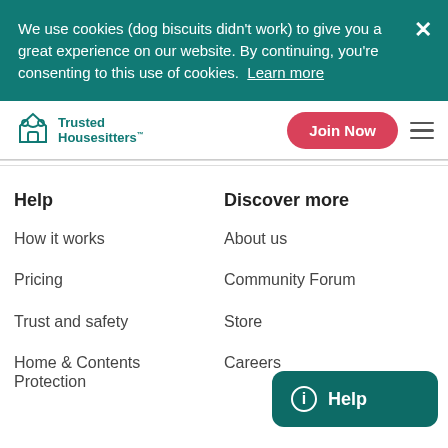We use cookies (dog biscuits didn't work) to give you a great experience on our website. By continuing, you're consenting to this use of cookies. Learn more
[Figure (logo): Trusted Housesitters logo with teal icon of house with people]
Join Now
Help
Discover more
How it works
About us
Pricing
Community Forum
Trust and safety
Store
Home & Contents Protection
Careers